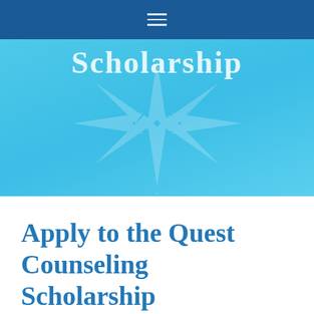≡
[Figure (illustration): Hero banner with light blue gradient background, compass rose watermark graphic in center, and partially visible 'Scholarship' text in white serif font at top]
Apply to the Quest Counseling Scholarship